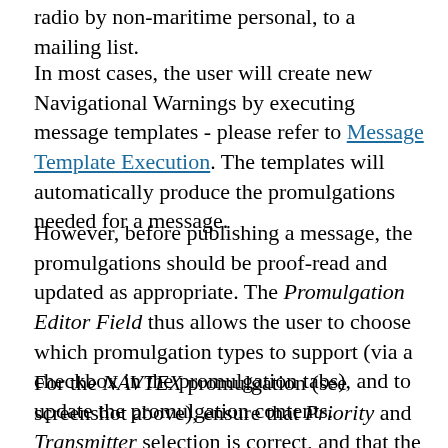radio by non-maritime personal, to a mailing list.
In most cases, the user will create new Navigational Warnings by executing message templates - please refer to Message Template Execution. The templates will automatically produce the promulgations needed for a message.
However, before publishing a message, the promulgations should be proof-read and updated as appropriate. The Promulgation Editor Field thus allows the user to choose which promulgation types to support (via a checkbox in the promulgation tabs), and to update the promulgation contents.
For the NAVTEX promulgation (see screenshot above), ensure that Priority and Transmitter selection is correct, and that the text adheres to